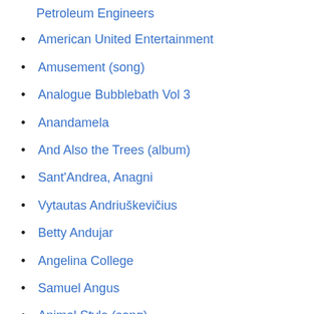Petroleum Engineers
American United Entertainment
Amusement (song)
Analogue Bubblebath Vol 3
Anandamela
And Also the Trees (album)
Sant'Andrea, Anagni
Vytautas Andriuškevičius
Betty Andujar
Angelina College
Samuel Angus
Animal Style (song)